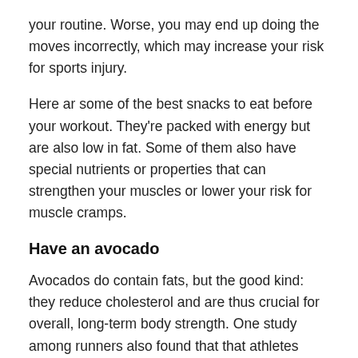your routine. Worse, you may end up doing the moves incorrectly, which may increase your risk for sports injury.
Here ar some of the best snacks to eat before your workout. They're packed with energy but are also low in fat. Some of them also have special nutrients or properties that can strengthen your muscles or lower your risk for muscle cramps.
Have an avocado
Avocados do contain fats, but the good kind: they reduce cholesterol and are thus crucial for overall, long-term body strength. One study among runners also found that that athletes need to maintain a certain level of fat—those who had less than 20% were more prone to injuries. That's because extreme low-fat diets can make the muscles and joints weaker.